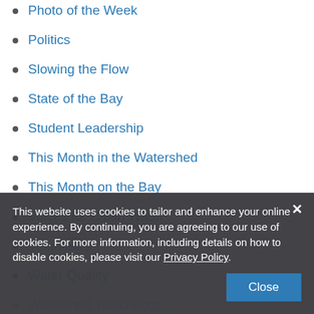Photo of the Week
Politics
Slowing the Flow
State of the Bay
Student Leadership
This Month in the Watershed
This Month on the Bay
Voices for Clean Water
Volunteers
Water Quality
Watershed Watchdogs
What's Bill Seeing in the Field?
Watershed News on the Bay
This website uses cookies to tailor and enhance your online experience. By continuing, you are agreeing to our use of cookies. For more information, including details on how to disable cookies, please visit our Privacy Policy.